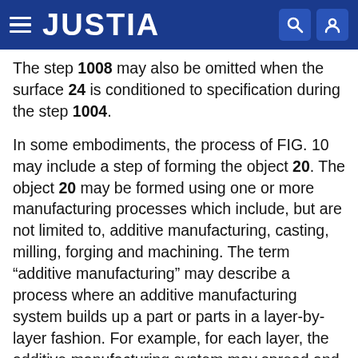JUSTIA
The step 1008 may also be omitted when the surface 24 is conditioned to specification during the step 1004.
In some embodiments, the process of FIG. 10 may include a step of forming the object 20. The object 20 may be formed using one or more manufacturing processes which include, but are not limited to, additive manufacturing, casting, milling, forging and machining. The term “additive manufacturing” may describe a process where an additive manufacturing system builds up a part or parts in a layer-by-layer fashion. For example, for each layer, the additive manufacturing system may spread and compact a layer of additive manufacturing material (e.g., metal powder and/or non-metal powder) and solidify one or more portions of this material layer with an energy beam; e.g., a laser beam or an electron beam. Examples of an additive